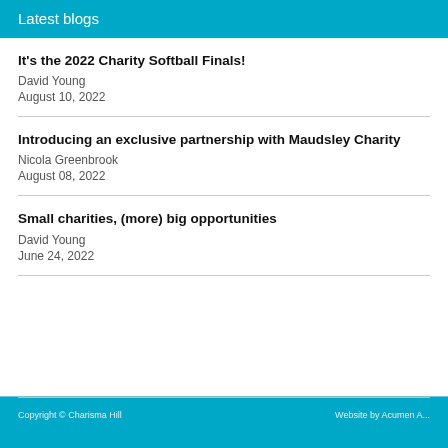Latest blogs
It's the 2022 Charity Softball Finals!
David Young
August 10, 2022
Introducing an exclusive partnership with Maudsley Charity
Nicola Greenbrook
August 08, 2022
Small charities, (more) big opportunities
David Young
June 24, 2022
Copyright © ...   Website by ...